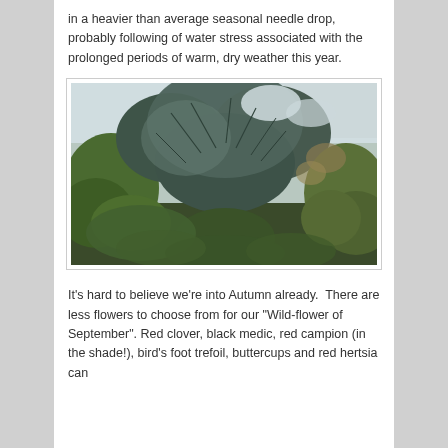in a heavier than average seasonal needle drop, probably following of water stress associated with the prolonged periods of warm, dry weather this year.
[Figure (photo): Photograph of a pine tree with blue-green needles, surrounded by green leafy shrubs and other vegetation in a woodland setting.]
It's hard to believe we're into Autumn already.  There are less flowers to choose from for our "Wild-flower of September". Red clover, black medic, red campion (in the shade!), bird's foot trefoil, buttercups and red hertsia can